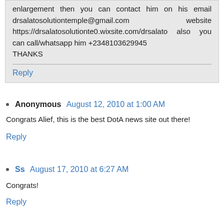enlargement then you can contact him on his email drsalatosolutiontemple@gmail.com website https://drsalatosolutionte0.wixsite.com/drsalato also you can call/whatsapp him +2348103629945 THANKS
Reply
Anonymous August 12, 2010 at 1:00 AM
Congrats Alief, this is the best DotA news site out there!
Reply
Ss August 17, 2010 at 6:27 AM
Congrats!
Reply